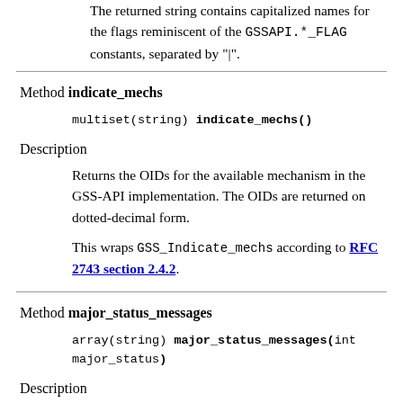The returned string contains capitalized names for the flags reminiscent of the GSSAPI.*_FLAG constants, separated by "|".
Method indicate_mechs
multiset(string) indicate_mechs()
Description
Returns the OIDs for the available mechanism in the GSS-API implementation. The OIDs are returned on dotted-decimal form.
This wraps GSS_Indicate_mechs according to RFC 2743 section 2.4.2.
Method major_status_messages
array(string) major_status_messages(int major_status)
Description
Given a major status code like...